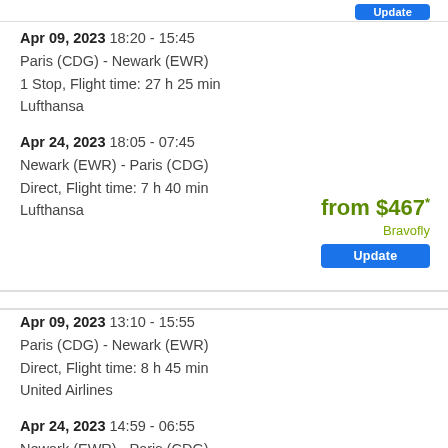Update
Apr 09, 2023 18:20 - 15:45
Paris (CDG) - Newark (EWR)
1 Stop, Flight time: 27 h 25 min
Lufthansa
Apr 24, 2023 18:05 - 07:45
Newark (EWR) - Paris (CDG)
Direct, Flight time: 7 h 40 min
Lufthansa
from $467*
Bravofly
Update
Apr 09, 2023 13:10 - 15:55
Paris (CDG) - Newark (EWR)
Direct, Flight time: 8 h 45 min
United Airlines
Apr 24, 2023 14:59 - 06:55
Newark (EWR) - Paris (CDG)
1 Stop, Flight time: 9 h 56 min